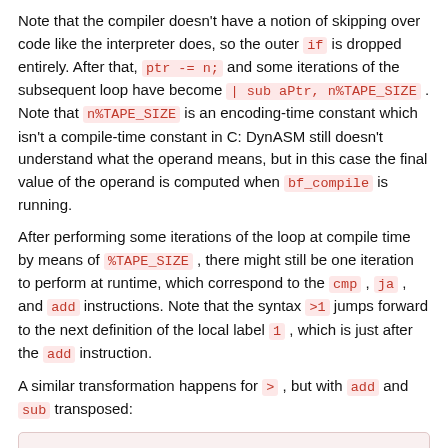Note that the compiler doesn't have a notion of skipping over code like the interpreter does, so the outer if is dropped entirely. After that, ptr -= n; and some iterations of the subsequent loop have become | sub aPtr, n%TAPE_SIZE . Note that n%TAPE_SIZE is an encoding-time constant which isn't a compile-time constant in C: DynASM still doesn't understand what the operand means, but in this case the final value of the operand is computed when bf_compile is running.
After performing some iterations of the loop at compile time by means of %TAPE_SIZE , there might still be one iteration to perform at runtime, which correspond to the cmp , ja , and add instructions. Note that the syntax >1 jumps forward to the next definition of the local label 1 , which is just after the add instruction.
A similar transformation happens for > , but with add and sub transposed:
[Figure (other): Code block showing removed lines: - if(!nskip) {, -    ptr += n;, -    while(ptr > tape_end), -       ptr -= TAPE_SIZE;]